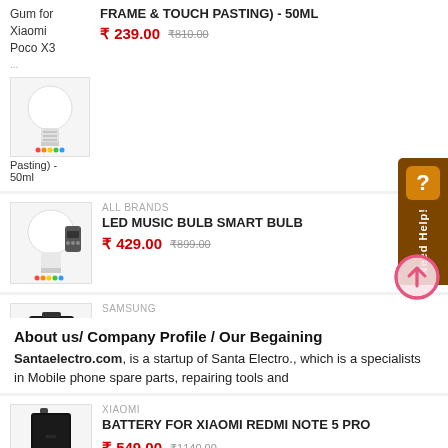Gum for Xiaomi Poco X3 ... FRAME & TOUCH PASTING) - 50ML
₹ 239.00  ₹ 810.00
ALL BRANDS
LED MUSIC BULB SMART BULB
₹ 429.00  ₹ 899.00
SAMSUNG
SAMSUNG MOBILE BATTERY FOR SAMSUNG GALAXY
₹ 600.00  ₹ 960.00
XIAOMI
BATTERY FOR XIAOMI REDMI NOTE 5 PRO
₹ 549.00  ₹ 1140.00
About us/ Company Profile / Our Begaining
Santaelectro.com, is a startup of Santa Electro., which is a specialists in Mobile phone spare parts, repairing tools and